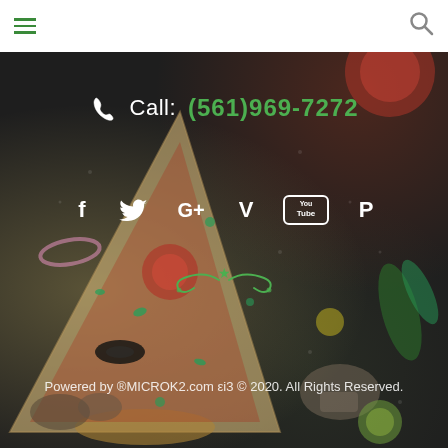Navigation bar with hamburger menu and search icon
[Figure (photo): Dark background food photo with pizza ingredients — pizza slice, tomatoes, mushrooms, olives, onions, herbs — on a dark speckled surface]
Call: (561)969-7272
[Figure (infographic): Social media icons row: Facebook (f), Twitter (bird), Google+ (G+), Vimeo (V), YouTube (You Tube box), Pinterest (P)]
[Figure (illustration): Decorative green flourish / swirl ornament with a star]
Powered by ®MICROK2.com εi3 © 2020. All Rights Reserved.